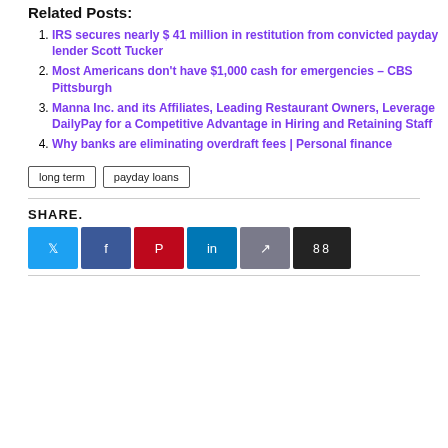Related Posts:
IRS secures nearly $ 41 million in restitution from convicted payday lender Scott Tucker
Most Americans don’t have $1,000 cash for emergencies – CBS Pittsburgh
Manna Inc. and its Affiliates, Leading Restaurant Owners, Leverage DailyPay for a Competitive Advantage in Hiring and Retaining Staff
Why banks are eliminating overdraft fees | Personal finance
long term   payday loans
SHARE.
[Figure (other): Row of social media share buttons: Twitter (light blue), Facebook (dark blue), Pinterest (red), LinkedIn (teal), gray share button, dark share/count button showing 88]